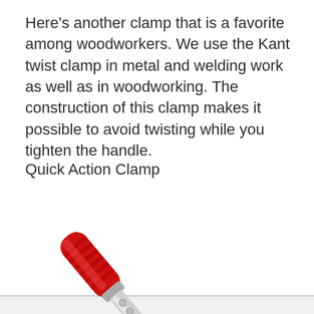Here's another clamp that is a favorite among woodworkers. We use the Kant twist clamp in metal and welding work as well as in woodworking. The construction of this clamp makes it possible to avoid twisting while you tighten the handle.
Quick Action Clamp
[Figure (photo): A quick action clamp with a red textured grip handle at the top and a metal bar/rail mechanism at the bottom, photographed on a white background. The clamp is angled diagonally with the red handle in the upper-left and the metal bar extending to the lower-right.]